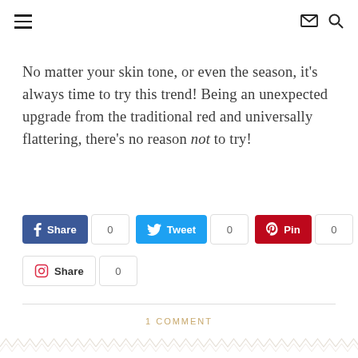Navigation header with hamburger menu, envelope icon, search icon
No matter your skin tone, or even the season, it's always time to try this trend! Being an unexpected upgrade from the traditional red and universally flattering, there's no reason not to try!
Share 0 | Tweet 0 | Pin 0 | Email 0 | Share 0
1 COMMENT